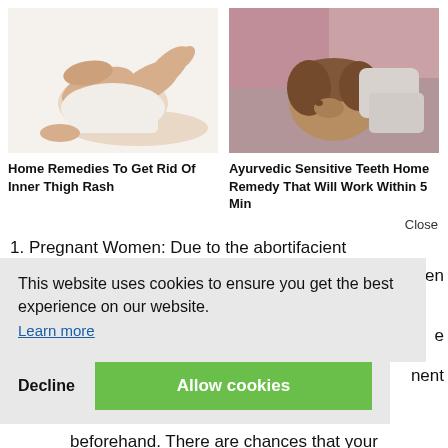[Figure (photo): Woman sitting with legs folded, wearing white, on white background — inner thigh visible]
[Figure (photo): Medical professional working on a patient's mouth/teeth, close-up]
Home Remedies To Get Rid Of Inner Thigh Rash
Ayurvedic Sensitive Teeth Home Remedy That Will Work Within 5 Min
Close
1. Pregnant Women: Due to the abortifacient
omen
This website uses cookies to ensure you get the best experience on our website.
Learn more
e
nent
Decline
Allow cookies
beforehand. There are chances that your